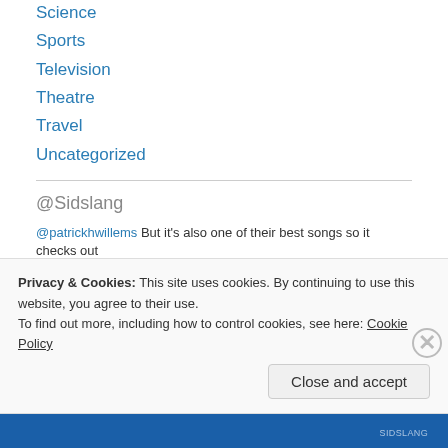Science
Sports
Television
Theatre
Travel
Uncategorized
@Sidslang
@patrickhwillems But it's also one of their best songs so it checks out
20 hours ago
Is Plato's Allegory of the Cave about how to tell the difference between
Privacy & Cookies: This site uses cookies. By continuing to use this website, you agree to their use.
To find out more, including how to control cookies, see here: Cookie Policy
SIDSLANG